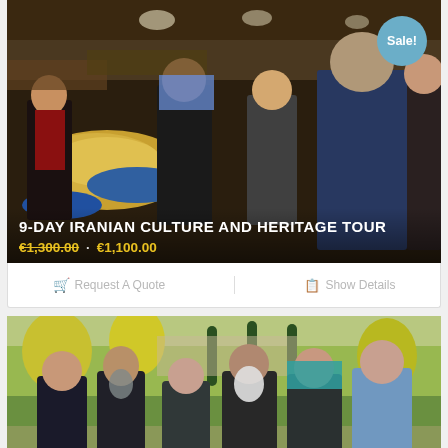[Figure (photo): Photo of tourists at an Iranian market/bazaar with spices and goods on display, several people including women with headscarves browsing stalls]
9-DAY IRANIAN CULTURE AND HERITAGE TOUR
€1,300.00 · €1,100.00
Sale!
Request A Quote
Show Details
[Figure (photo): Group photo of six people sitting/standing outdoors in a park or garden setting, some women wearing headscarves, autumnal trees visible in background]